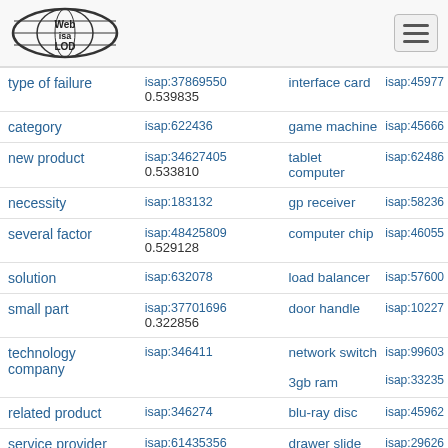[Figure (logo): WebIsaLOD logo - globe with Web isa LOD text inside an oval]
| term | isap id | related term / score | isap id 2 |
| --- | --- | --- | --- |
| type of failure | isap:37869550 | interface card
0.539835 | isap:45977 |
| category | isap:622436 | game machine | isap:45666 |
| new product | isap:34627405 | tablet computer
0.533810 | isap:62486 |
| necessity | isap:183132 | gp receiver | isap:58236 |
| several factor | isap:48425809 | computer chip
0.529128 | isap:46055 |
| solution | isap:632078 | load balancer | isap:57600 |
| small part | isap:37701696 | door handle
0.322856 | isap:10227 |
| technology company | isap:346411 | network switch | isap:99603 |
|  |  | 3gb ram | isap:33235 |
| related product | isap:346274 | blu-ray disc | isap:45962 |
| service provider | isap:61435356 | 0.517233
drawer slide | isap:29626 |